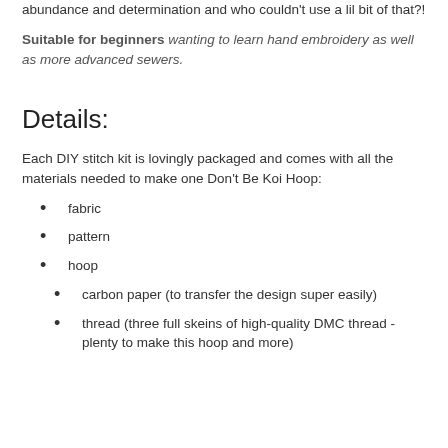abundance and determination and who couldn't use a lil bit of that?!
Suitable for beginners wanting to learn hand embroidery as well as more advanced sewers.
Details:
Each DIY stitch kit is lovingly packaged and comes with all the materials needed to make one Don't Be Koi Hoop:
fabric
pattern
hoop
carbon paper (to transfer the design super easily)
thread (three full skeins of high-quality DMC thread - plenty to make this hoop and more)